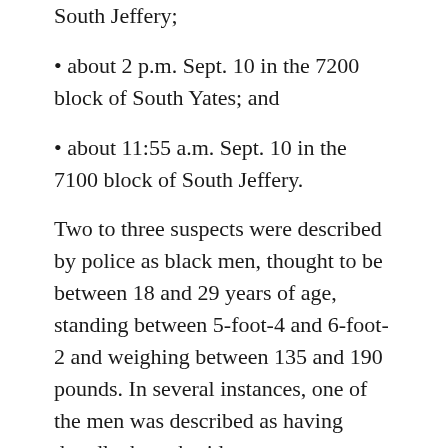South Jeffery;
• about 2 p.m. Sept. 10 in the 7200 block of South Yates; and
• about 11:55 a.m. Sept. 10 in the 7100 block of South Jeffery.
Two to three suspects were described by police as black men, thought to be between 18 and 29 years of age, standing between 5-foot-4 and 6-foot-2 and weighing between 135 and 190 pounds. In several instances, one of the men was described as having dreadlocks or braids.
Anyone with information on the robberies was asked to call Area Central detectives at (312) 747-